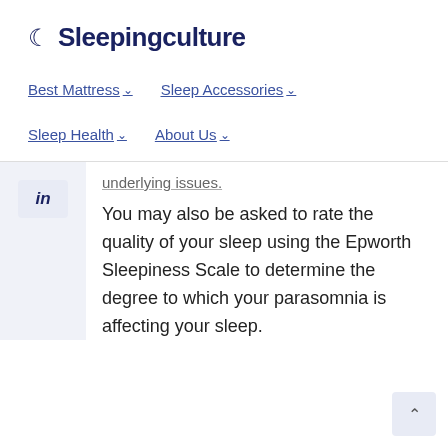🌙 Sleepingculture
Best Mattress ∨  Sleep Accessories ∨
Sleep Health ∨  About Us ∨
...underlying issues.
You may also be asked to rate the quality of your sleep using the Epworth Sleepiness Scale to determine the degree to which your parasomnia is affecting your sleep.